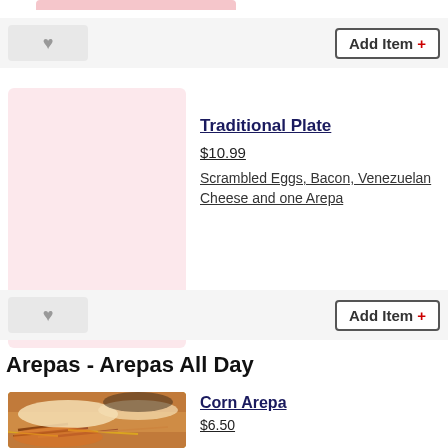[Figure (other): Partial pink rounded rectangle bar at top of page (menu item image placeholder, cropped)]
[Figure (other): Heart/favorite button (gray background) on the left and Add Item + button on the right, first action row]
[Figure (other): Pink placeholder image for Traditional Plate menu item]
Traditional Plate
$10.99
Scrambled Eggs, Bacon, Venezuelan Cheese and one Arepa
[Figure (other): Heart/favorite button (gray background) on the left and Add Item + button on the right, second action row]
Arepas - Arepas All Day
[Figure (photo): Photo of arepas with shredded meat filling on an orange plate]
Corn Arepa
$6.50